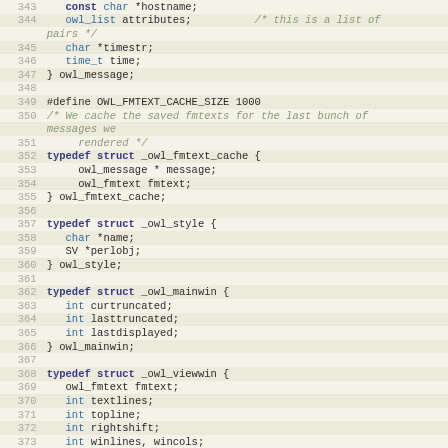Source code listing, lines 343-373, showing C struct definitions including owl_message, owl_fmtext_cache, owl_style, owl_mainwin, and owl_viewwin.